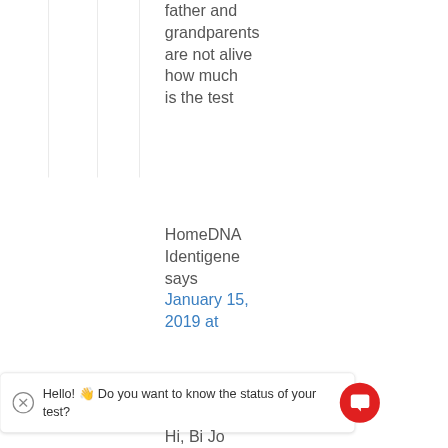father and grandparents are not alive how much is the test
HomeDNA Identigene says January 15, 2019 at
Hello! 👋 Do you want to know the status of your test?
Hi, Bi Jo